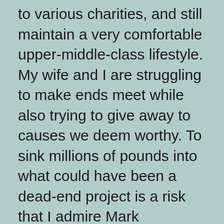to various charities, and still maintain a very comfortable upper-middle-class lifestyle. My wife and I are struggling to make ends meet while also trying to give away to causes we deem worthy. To sink millions of pounds into what could have been a dead-end project is a risk that I admire Mark Shuttleworth taking. He could have been ridiculed. He could have lost a lot of money on nothing.

He had a vision, though. I liked that original vision. I liked the free CDs shipped anywhere. I liked the idea of one CD with one application per task, not a lot of confusing options, and